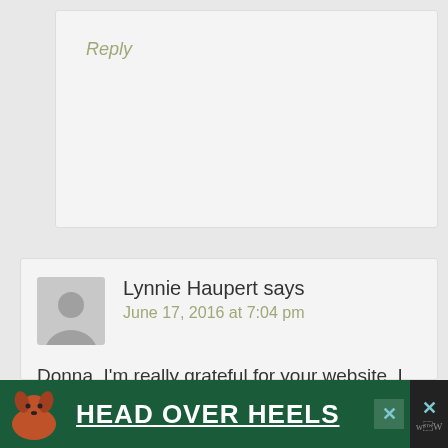Reply
Lynnie Haupert says
June 17, 2016 at 7:04 pm
Donna, I'm really grateful for your website. I have lived with Fibromyalgia, CFS for 21 years and have tried stuff and basically very
[Figure (infographic): Advertisement banner: green background with dog image and text HEAD OVER HEELS in white bold underlined letters]